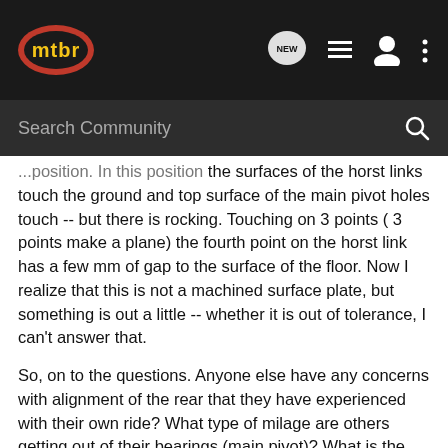mtbr — navigation bar with logo, NEW chat icon, list icon, user icon, more icon
Search Community
position. In this position the surfaces of the horst links touch the ground and top surface of the main pivot holes touch -- but there is rocking. Touching on 3 points ( 3 points make a plane) the fourth point on the horst link has a few mm of gap to the surface of the floor. Now I realize that this is not a machined surface plate, but something is out a little -- whether it is out of tolerance, I can't answer that.
So, on to the questions. Anyone else have any concerns with alignment of the rear that they have experienced with their own ride? What type of milage are others getting out of their bearings (main pivot)? What is the best method to remove the main pivot bearings and the best way to install for a home wrench? Any take any pictures of their home install process?